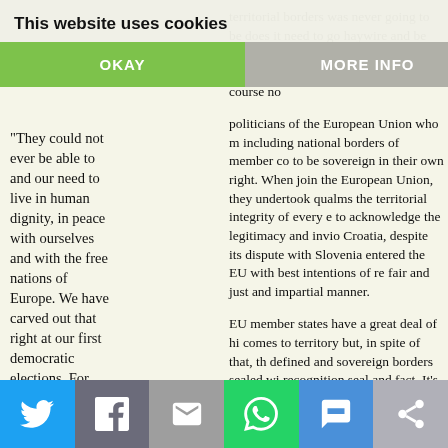"They could not ever be able to and our need to live in human dignity, in peace with ourselves and with the free nations of Europe. We have carved out that right at our first democratic elections. For this right and for our sacred land we are even ready to die" – Dr Franjo
territorial borders was never going to be does it need to go haywire and be prolo kdrop of severe court and contractu ltewashing of the same? Of course no politicians of the European Union who m including national borders of member co to be sovereign in their own right. When join the European Union, they undertook qualms the territorial integrity of every to acknowledge the legitimacy and invio Croatia, despite its dispute with Slovenia entered the EU with best intentions of re fair and just and impartial manner.

EU member states have a great deal of hi comes to territory but, in spite of that, th defined and sovereign borders sealed wi recognition seal and fact. It's become qui
This website uses cookies
OKAY
MORE INFO